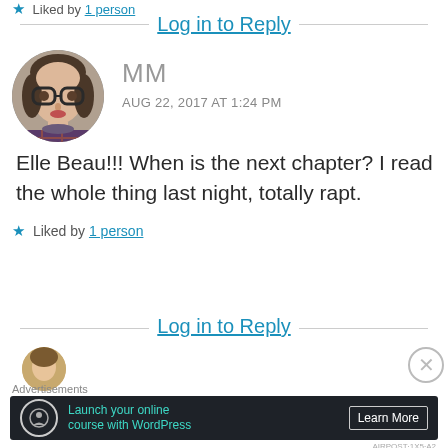★ Liked by 1 person
Log in to Reply
MM
AUG 22, 2017 AT 1:24 PM
[Figure (photo): Circular avatar photo of a woman wearing glasses and a plaid/flannel top, seated in a car]
Elle Beau!!! When is the next chapter? I read the whole thing last night, totally rapt.
★ Liked by 1 person
Log in to Reply
Advertisements
Launch your online course with WordPress
Learn More